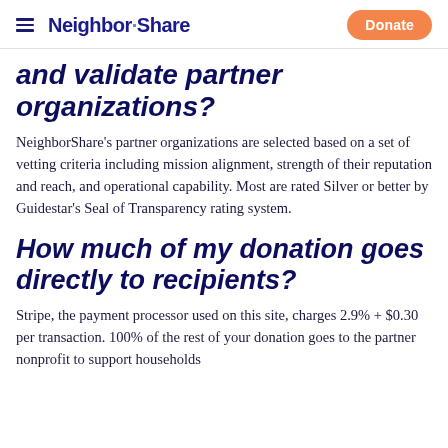Neighbor·Share  Donate
and validate partner organizations?
NeighborShare's partner organizations are selected based on a set of vetting criteria including mission alignment, strength of their reputation and reach, and operational capability. Most are rated Silver or better by Guidestar's Seal of Transparency rating system.
How much of my donation goes directly to recipients?
Stripe, the payment processor used on this site, charges 2.9% + $0.30 per transaction. 100% of the rest of your donation goes to the partner nonprofit to support households